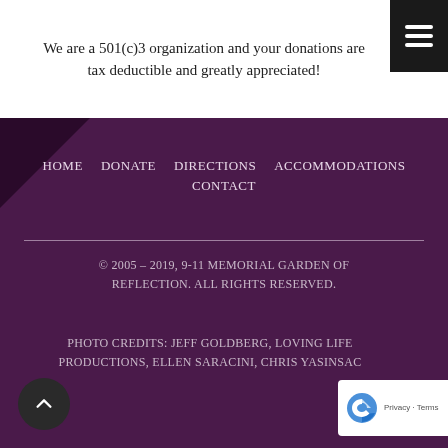We are a 501(c)3 organization and your donations are tax deductible and greatly appreciated!
HOME   DONATE   DIRECTIONS   ACCOMMODATIONS   CONTACT
© 2005 – 2019, 9-11 MEMORIAL GARDEN OF REFLECTION. ALL RIGHTS RESERVED.
PHOTO CREDITS: JEFF GOLDBERG, LOVING LIFE PRODUCTIONS, ELLEN SARACINI, CHRIS YASINSAC